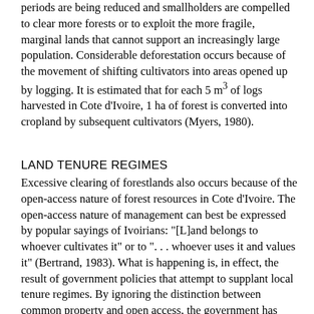periods are being reduced and smallholders are compelled to clear more forests or to exploit the more fragile, marginal lands that cannot support an increasingly large population. Considerable deforestation occurs because of the movement of shifting cultivators into areas opened up by logging. It is estimated that for each 5 m³ of logs harvested in Cote d'Ivoire, 1 ha of forest is converted into cropland by subsequent cultivators (Myers, 1980).
LAND TENURE REGIMES
Excessive clearing of forestlands also occurs because of the open-access nature of forest resources in Cote d'Ivoire. The open-access nature of management can best be expressed by popular sayings of Ivoirians: "[L]and belongs to whoever cultivates it" or to ". . . whoever uses it and values it" (Bertrand, 1983). What is happening is, in effect, the result of government policies that attempt to supplant local tenure regimes. By ignoring the distinction between common property and open access, the government has failed to offer legal mechanisms for protecting communal land rights. Instead, attempts are often made to treat open access as a proprietary interest